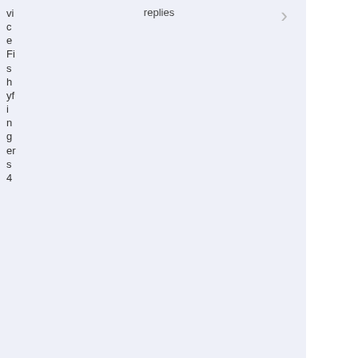vice Fishyfingers 4
replies
Pregnant platys? Blue 4
0 replies